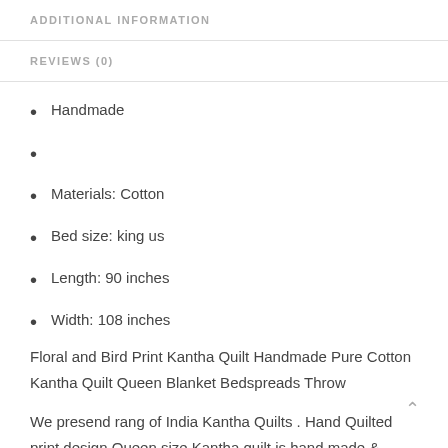ADDITIONAL INFORMATION
REVIEWS (0)
Handmade
Materials: Cotton
Bed size: king us
Length: 90 inches
Width: 108 inches
Floral and Bird Print Kantha Quilt Handmade Pure Cotton Kantha Quilt Queen Blanket Bedspreads Throw
We presend rang of India Kantha Quilts . Hand Quilted print design Queen size Kantha quilt is hand made &